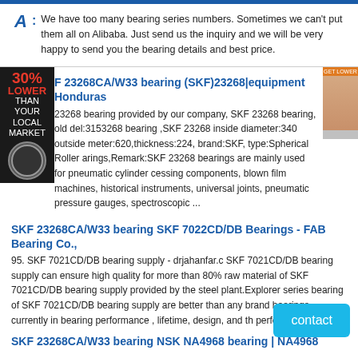A: We have too many bearing series numbers. Sometimes we can't put them all on Alibaba. Just send us the inquiry and we will be very happy to send you the bearing details and best price.
F 23268CA/W33 bearing (SKF)23268|equipment Honduras
23268 bearing provided by our company, SKF 23268 bearing, old del:3153268 bearing ,SKF 23268 inside diameter:340 outside meter:620,thickness:224, brand:SKF, type:Spherical Roller arings,Remark:SKF 23268 bearings are mainly used for pneumatic cylinder cessing components, blown film machines, historical instruments, universal joints, pneumatic pressure gauges, spectroscopic ...
SKF 23268CA/W33 bearing SKF 7022CD/DB Bearings - FAB Bearing Co.,
95. SKF 7021CD/DB bearing supply - drjahanfar.c SKF 7021CD/DB bearing supply can ensure high quality for more than 80% raw material of SKF 7021CD/DB bearing supply provided by the steel plant.Explorer series bearing of SKF 7021CD/DB bearing supply are better than any brand bearings currently in bearing performance , lifetime, design, and the performance.
SKF 23268CA/W33 bearing NSK NA4968 bearing | NA4968